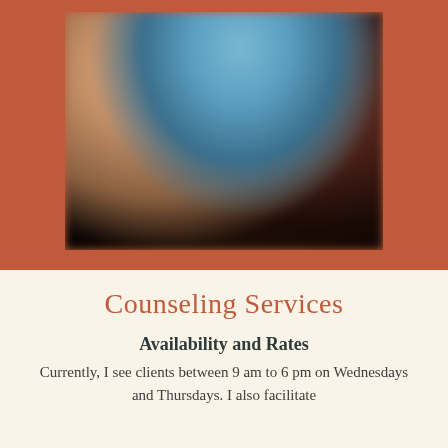[Figure (photo): Blurred photograph with terracotta/rust colored border frame, showing an outdoor or indoor scene with blue sky tones in upper portion and darker shadowy tones in lower portion]
Counseling Services
Availability and Rates
Currently, I see clients between 9 am to 6 pm on Wednesdays and Thursdays. I also facilitate